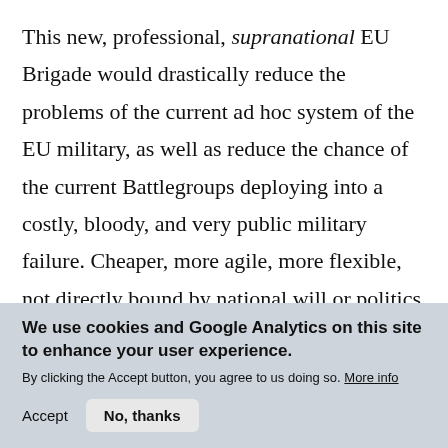This new, professional, supranational EU Brigade would drastically reduce the problems of the current ad hoc system of the EU military, as well as reduce the chance of the current Battlegroups deploying into a costly, bloody, and very public military failure. Cheaper, more agile, more flexible, not directly bound by national will or politics of Member States, and manned by well-trained and highly motivated
We use cookies and Google Analytics on this site to enhance your user experience. By clicking the Accept button, you agree to us doing so. More info
Accept | No, thanks